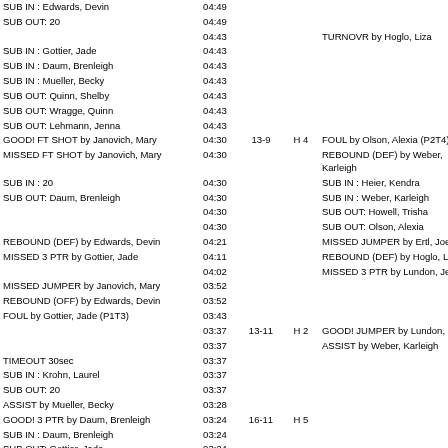| HOME | TIME | SCORE | MARGIN | AWAY |
| --- | --- | --- | --- | --- |
| SUB IN : Edwards, Devin | 04:49 |  |  |  |
| SUB OUT: 20 | 04:49 |  |  |  |
|  | 04:43 |  |  | TURNOVR by Hoglo, Liza |
| SUB IN : Gottier, Jade | 04:43 |  |  |  |
| SUB IN : Daum, Brenleigh | 04:43 |  |  |  |
| SUB IN : Mueller, Becky | 04:43 |  |  |  |
| SUB OUT: Quinn, Shelby | 04:43 |  |  |  |
| SUB OUT: Wragge, Quinn | 04:43 |  |  |  |
| SUB OUT: Lehmann, Jenna | 04:43 |  |  |  |
| GOOD! FT SHOT by Janovich, Mary | 04:30 | 13-9 | H 4 | FOUL by Olson, Alexia (P2T4) |
| MISSED FT SHOT by Janovich, Mary | 04:30 |  |  | REBOUND (DEF) by Weber, Karleigh |
| SUB IN : 20 | 04:30 |  |  | SUB IN : Heier, Kendra |
| SUB OUT: Daum, Brenleigh | 04:30 |  |  | SUB IN : Weber, Karleigh |
|  | 04:30 |  |  | SUB OUT: Howell, Trisha |
|  | 04:30 |  |  | SUB OUT: Olson, Alexia |
| REBOUND (DEF) by Edwards, Devin | 04:21 |  |  | MISSED JUMPER by Ertl, Joelle |
| MISSED 3 PTR by Gottier, Jade | 04:11 |  |  | REBOUND (DEF) by Hoglo, Liza |
|  | 04:02 |  |  | MISSED 3 PTR by Lundon, Jenna |
| MISSED JUMPER by Janovich, Mary | 03:52 |  |  |  |
| REBOUND (OFF) by Edwards, Devin | 03:52 |  |  |  |
| FOUL by Gottier, Jade (P1T3) | 03:43 |  |  |  |
|  | 03:37 | 13-11 | H 2 | GOOD! JUMPER by Lundon, Jenna |
|  | 03:37 |  |  | ASSIST by Weber, Karleigh |
| TIMEOUT 30sec | 03:37 |  |  |  |
| SUB IN : Krohn, Laurel | 03:37 |  |  |  |
| SUB OUT: 20 | 03:37 |  |  |  |
| ASSIST by Mueller, Becky | 03:28 |  |  |  |
| GOOD! 3 PTR by Daum, Brenleigh | 03:24 | 16-11 | H 5 |  |
| SUB IN : Daum, Brenleigh | 03:24 |  |  |  |
| SUB OUT: Gottier, Jade | 03:24 |  |  |  |
| SUB IN : Gottier, Jade | 03:12 |  |  |  |
| SUB OUT: Feller, Sydney | 03:12 |  |  |  |
|  | 03:05 |  |  | MISSED 3 PTR by Heier, Kendra |